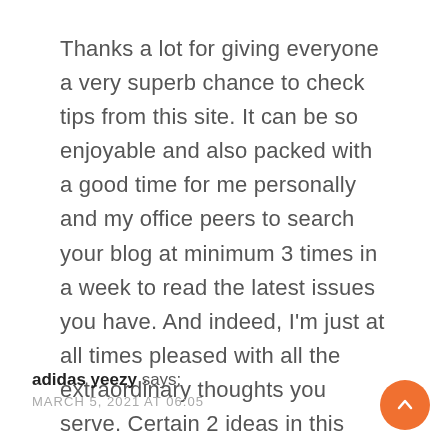Thanks a lot for giving everyone a very superb chance to check tips from this site. It can be so enjoyable and also packed with a good time for me personally and my office peers to search your blog at minimum 3 times in a week to read the latest issues you have. And indeed, I'm just at all times pleased with all the extraordinary thoughts you serve. Certain 2 ideas in this article are unquestionably the most effective we have ever had.
adidas yeezy says:
MARCH 5, 2021 AT 06:05